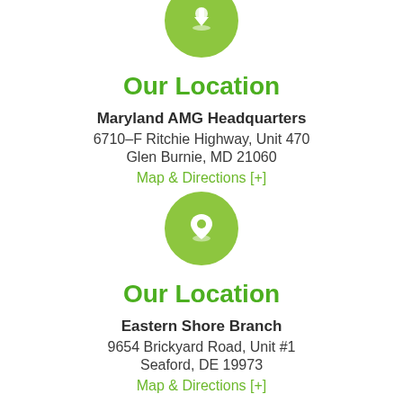[Figure (illustration): Green circle icon with a download/location arrow pointing down at top of page (partially cropped)]
Our Location
Maryland AMG Headquarters
6710-F Ritchie Highway, Unit 470
Glen Burnie, MD 21060
Map & Directions [+]
[Figure (illustration): Green circle icon with a map pin/location marker]
Our Location
Eastern Shore Branch
9654 Brickyard Road, Unit #1
Seaford, DE 19973
Map & Directions [+]
[Figure (illustration): Green circle icon partially cropped at bottom of page]